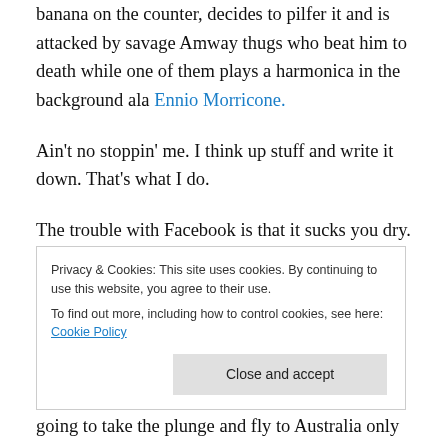banana on the counter, decides to pilfer it and is attacked by savage Amway thugs who beat him to death while one of them plays a harmonica in the background ala Ennio Morricone.
Ain't no stoppin' me. I think up stuff and write it down. That's what I do.
The trouble with Facebook is that it sucks you dry. I've caught myself getting pulled into too many dramas concerning people I know I'll never meet. Facebook groups are always one step from being interactive soap
Privacy & Cookies: This site uses cookies. By continuing to use this website, you agree to their use. To find out more, including how to control cookies, see here: Cookie Policy
Close and accept
going to take the plunge and fly to Australia only to